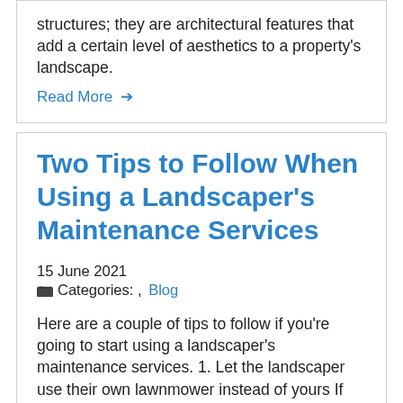structures; they are architectural features that add a certain level of aesthetics to a property's landscape.
Read More →
Two Tips to Follow When Using a Landscaper's Maintenance Services
15 June 2021
Categories: , Blog
Here are a couple of tips to follow if you're going to start using a landscaper's maintenance services. 1. Let the landscaper use their own lawnmower instead of yours If you have a functioning lawnmower that you feel cuts your grass quite effectively, then you may be thinking about having the landscaper use this mower instead of their own, as the theory goes